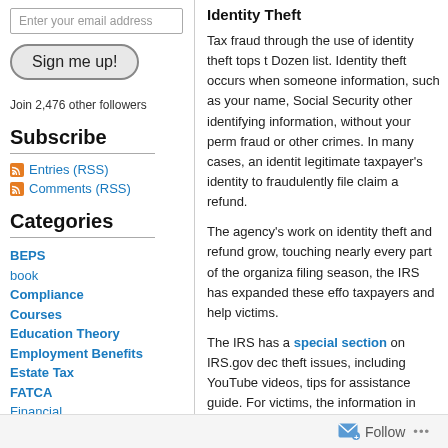Enter your email address
Sign me up!
Join 2,476 other followers
Subscribe
Entries (RSS)
Comments (RSS)
Categories
BEPS
book
Compliance
Courses
Education Theory
Employment Benefits
Estate Tax
FATCA
Financial
Financial Crimes
information exchange
Identity Theft
Tax fraud through the use of identity theft tops the Dozen list. Identity theft occurs when someone information, such as your name, Social Security other identifying information, without your perm fraud or other crimes. In many cases, an identit legitimate taxpayer's identity to fraudulently file claim a refund.
The agency's work on identity theft and refund grow, touching nearly every part of the organiza filing season, the IRS has expanded these effo taxpayers and help victims.
The IRS has a special section on IRS.gov dec theft issues, including YouTube videos, tips for assistance guide. For victims, the information in contact the IRS Identity Protection Specialized taxpayers, there are tips on how taxpayers can against identity theft.
Taxpayers who believe they are at risk of identi stolen personal information should contact the the agency can take action to ensure their tax...